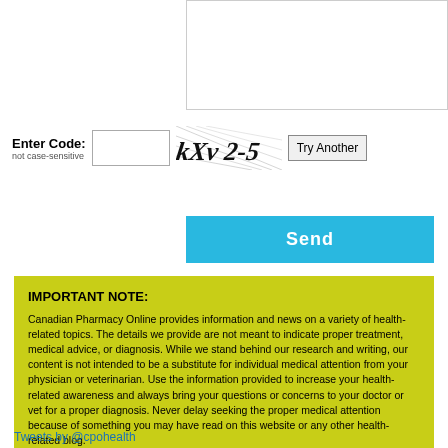[Figure (screenshot): Text input box area at top of page]
Enter Code:
not case-sensitive
[Figure (other): CAPTCHA image showing distorted text 'kXv2-5']
Try Another
Send
IMPORTANT NOTE:
Canadian Pharmacy Online provides information and news on a variety of health-related topics. The details we provide are not meant to indicate proper treatment, medical advice, or diagnosis. While we stand behind our research and writing, our content is not intended to be a substitute for individual medical attention from your physician or veterinarian. Use the information provided to increase your health-related awareness and always bring your questions or concerns to your doctor or vet for a proper diagnosis. Never delay seeking the proper medical attention because of something you may have read on this website or any other health-related blog.
Tweets by @cpohealth